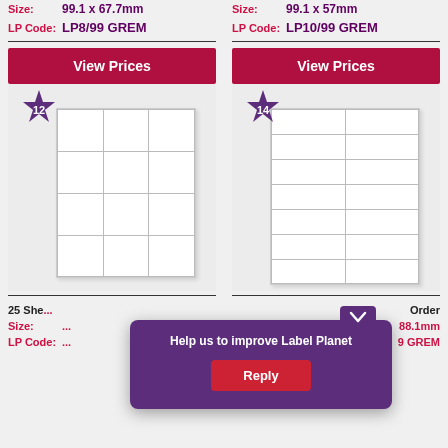Size: 99.1 x 67.7mm
LP Code: LP8/99 GREM
Size: 99.1 x 57mm
LP Code: LP10/99 GREM
[Figure (illustration): View Prices button with label sheet showing 12 labels (3 columns x 4 rows) and star badge with number 12]
[Figure (illustration): View Prices button with label sheet showing 14 labels (2 columns x 7 rows) and star badge with number 14]
25 She...
Order
Size: ...88.1mm
LP Code: ...9 GREM
[Figure (screenshot): Popup overlay: 'Help us to improve Label Planet' with a Reply button in red, on a purple background. A chevron/arrow box is at the top right.]